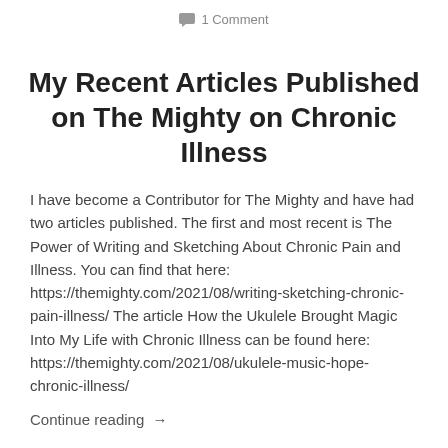1 Comment
My Recent Articles Published on The Mighty on Chronic Illness
I have become a Contributor for The Mighty and have had two articles published. The first and most recent is The Power of Writing and Sketching About Chronic Pain and Illness. You can find that here: https://themighty.com/2021/08/writing-sketching-chronic-pain-illness/ The article How the Ukulele Brought Magic Into My Life with Chronic Illness can be found here: https://themighty.com/2021/08/ukulele-music-hope-chronic-illness/
Continue reading →